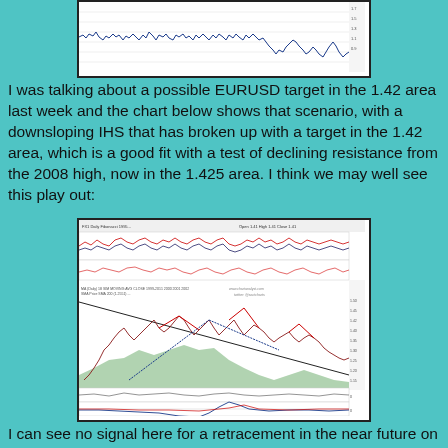[Figure (continuous-plot): Top financial time series chart showing a volatility/oscillator indicator with blue line fluctuations over time on white background]
I was talking about a possible EURUSD target in the 1.42 area last week and the chart below shows that scenario, with a downsloping IHS that has broken up with a target in the 1.42 area, which is a good fit with a test of declining resistance from the 2008 high, now in the 1.425 area. I think we may well see this play out:
[Figure (continuous-plot): EURUSD financial chart showing price action with IHS pattern, trendlines, green area chart for SPX, and oscillator indicators below. Contains blue and red trendlines marking the inverse head and shoulders pattern with price target annotations.]
I can see no signal here for a retracement in the near future on SPX. As long as that remains the case we are running the